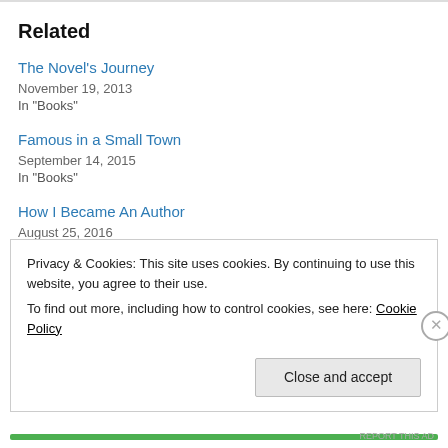Related
The Novel's Journey
November 19, 2013
In "Books"
Famous in a Small Town
September 14, 2015
In "Books"
How I Became An Author
August 25, 2016
In "Books"
Privacy & Cookies: This site uses cookies. By continuing to use this website, you agree to their use.
To find out more, including how to control cookies, see here: Cookie Policy
Close and accept